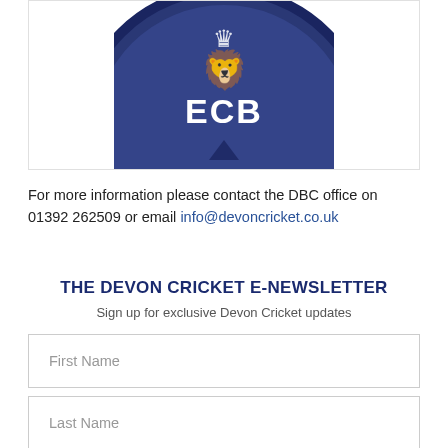[Figure (logo): ECB (England and Wales Cricket Board) circular logo, dark navy blue circle with white lion crest and ECB text, shown partially cropped at top]
For more information please contact the DBC office on 01392 262509 or email info@devoncricket.co.uk
THE DEVON CRICKET E-NEWSLETTER
Sign up for exclusive Devon Cricket updates
First Name
Last Name
E-mail address